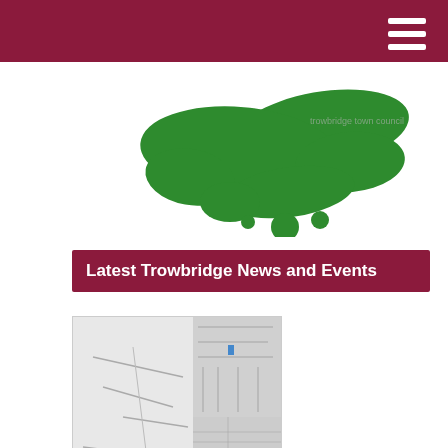[Figure (logo): Green paint splat logo for Trowbridge Town Council website]
Latest Trowbridge News and Events
[Figure (map): Engineering/planning map showing road carriageway extents at Bellefield Crescent, Trowbridge]
Road Carriageway Works – Bellefield Crescent, Trowbridge
Carriageway repair works programmed on Bellefield Crescent, Trowbridge. The site extents can be viewed more